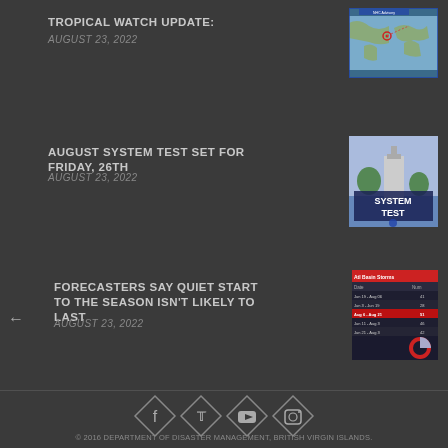TROPICAL WATCH UPDATE:
AUGUST 23, 2022
[Figure (map): Tropical weather map showing Atlantic and Caribbean region with storm tracking]
AUGUST SYSTEM TEST SET FOR FRIDAY, 26TH
AUGUST 23, 2022
[Figure (photo): System Test promotional image with text reading SYSTEM TEST]
FORECASTERS SAY QUIET START TO THE SEASON ISN'T LIKELY TO LAST
AUGUST 23, 2022
[Figure (table-as-image): Table showing hurricane season forecast data with dates and numbers, one row highlighted in red]
[Figure (infographic): Social media icons for Facebook, Twitter, YouTube, and Instagram displayed as diamond shapes]
© 2016 DEPARTMENT OF DISASTER MANAGEMENT, BRITISH VIRGIN ISLANDS.